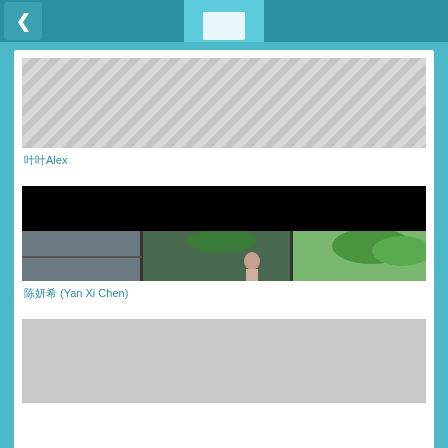< [navigation header with back button and center icon]
[Figure (photo): First list item image - light gray placeholder image]
叶叶Alex
[Figure (photo): Second list item image - black upper portion with outdoor scene showing a person near a window with trees in background]
陈妍希 (Yan Xi Chen)
[Figure (photo): Third list item image - light gray placeholder image, partially visible]